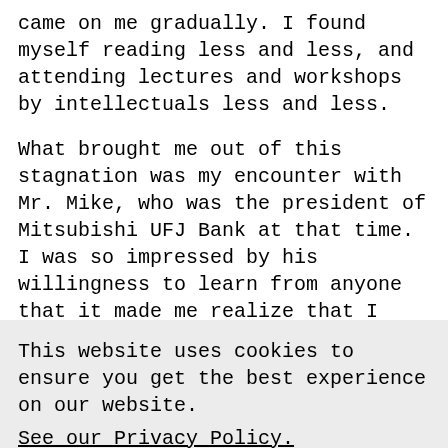came on me gradually. I found myself reading less and less, and attending lectures and workshops by intellectuals less and less.
What brought me out of this stagnation was my encounter with Mr. Mike, who was the president of Mitsubishi UFJ Bank at that time. I was so impressed by his willingness to learn from anyone that it made me realize that I need to grow and improve myself.
This website uses cookies to ensure you get the best experience on our website. See our Privacy Policy.
I Accept
what I need from the people around me, I